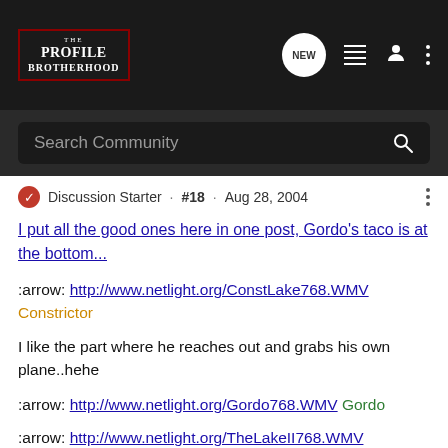[Figure (screenshot): The Profile Brotherhood website navigation bar with logo, NEW chat bubble icon, list icon, user icon, and three-dot menu icon on dark background]
[Figure (screenshot): Search Community search bar on dark background]
Discussion Starter · #18 · Aug 28, 2004
I put all the good ones here in one post, Gordo's taco is at the bottom...
:arrow: http://www.netlight.org/ConstLake768.WMV Constrictor
I like the part where he reaches out and grabs his own plane..hehe
:arrow: http://www.netlight.org/Gordo768.WMV Gordo
:arrow: http://www.netlight.org/TheLakeII768.WMV edge540flyer
This guy just lets it all hang out! No fear in this kid! :shock: